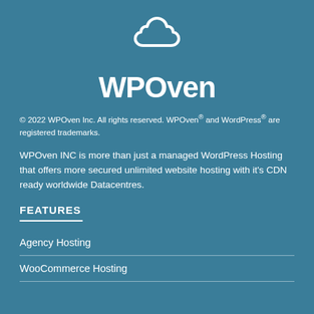[Figure (logo): WPOven logo: white chef's hat / cloud shape icon above the text 'WPOven' in bold white letters on a teal background]
© 2022 WPOven Inc. All rights reserved. WPOven® and WordPress® are registered trademarks.
WPOven INC is more than just a managed WordPress Hosting that offers more secured unlimited website hosting with it's CDN ready worldwide Datacentres.
FEATURES
Agency Hosting
WooCommerce Hosting